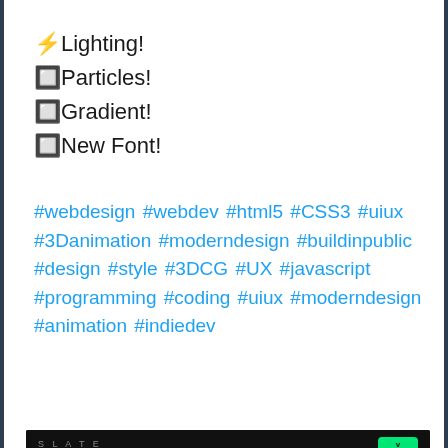⚡Lighting!
🔲Particles!
🔲Gradient!
🔲New Font!
#webdesign #webdev #html5 #CSS3 #uiux #3Danimation #moderndesign #buildinpublic #design #style #3DCG #UX #javascript #programming #coding #uiux #moderndesign #animation #indiedev
[Figure (screenshot): Screenshot of a dark-themed web application called SLATE. Shows a top bar with 'SLATE' label and green badge, with large SLATE text logo in white and cyan below, with a cyan horizontal line.]